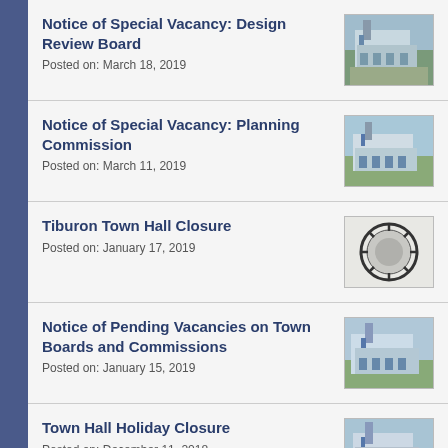Notice of Special Vacancy: Design Review Board
Posted on: March 18, 2019
Notice of Special Vacancy: Planning Commission
Posted on: March 11, 2019
Tiburon Town Hall Closure
Posted on: January 17, 2019
Notice of Pending Vacancies on Town Boards and Commissions
Posted on: January 15, 2019
Town Hall Holiday Closure
Posted on: December 11, 2018
Holiday Festival and Annual Tree and Menorah